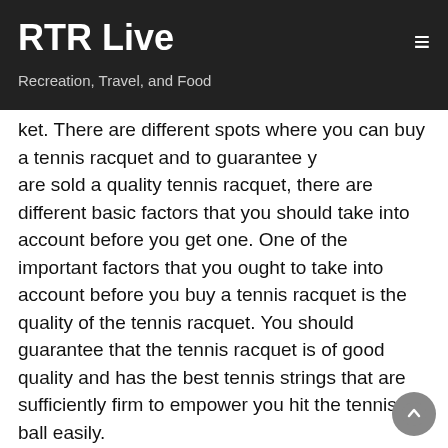RTR Live
Recreation, Travel, and Food
determining the results of a match therefore you should ensure you buy the best tennis racquet that is on the market. There are different spots where you can buy a tennis racquet and to guarantee you are sold a quality tennis racquet, there are different basic factors that you should take into account before you get one. One of the important factors that you ought to take into account before you buy a tennis racquet is the quality of the tennis racquet. You should guarantee that the tennis racquet is of good quality and has the best tennis strings that are sufficiently firm to empower you hit the tennis ball easily.
Another critical factor that you should consider when you are purchasing a tennis racquet is the cost which should in a perfect world be within your financial plan but you ought not make due with the extremely cheap tennis racquets as they are ordinarily of low quality. Before you purchase any tennis racquet, you should do as much research as you can on the web on where you can locate the